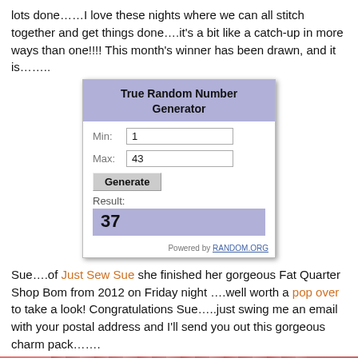lots done……I love these nights where we can all stitch together and get things done….it's a bit like a catch-up in more ways than one!!!! This month's winner has been drawn, and it is……..
[Figure (screenshot): True Random Number Generator screenshot showing Min: 1, Max: 43, Generate button, Result: 37, Powered by RANDOM.ORG]
Sue….of Just Sew Sue she finished her gorgeous Fat Quarter Shop Bom from 2012 on Friday night ….well worth a pop over to take a look! Congratulations Sue…..just swing me an email with your postal address and I'll send you out this gorgeous charm pack…….
[Figure (photo): Partial photo of colorful fabric charm packs at the bottom of the page]